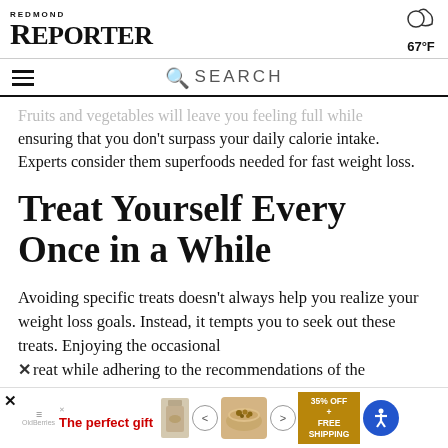REDMOND REPORTER
Fruits and vegetables will leave you feeling full while ensuring that you don't surpass your daily calorie intake. Experts consider them superfoods needed for fast weight loss.
Treat Yourself Every Once in a While
Avoiding specific treats doesn't always help you realize your weight loss goals. Instead, it tempts you to seek out these treats. Enjoying the occasional treat while adhering to the recommendations of the
[Figure (screenshot): Advertisement banner at bottom of page showing 'The perfect gift' with a bowl of nuts, navigation arrows, and '35% OFF + FREE SHIPPING' promotional text with accessibility icon]